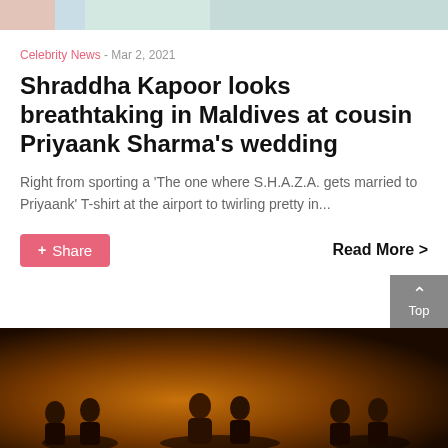[Figure (photo): Top portion of a photo showing clothing/fashion items, partially cropped at top of page]
Celebrity News - Mar 2, 2021
Shraddha Kapoor looks breathtaking in Maldives at cousin Priyaank Sharma's wedding
Right from sporting a 'The one where S.H.A.Z.A. gets married to Priyaank' T-shirt at the airport to twirling pretty in...
Share   Read More >
[Figure (photo): Bottom portion showing group of people at what appears to be a nighttime wedding event with golden/warm lighting]